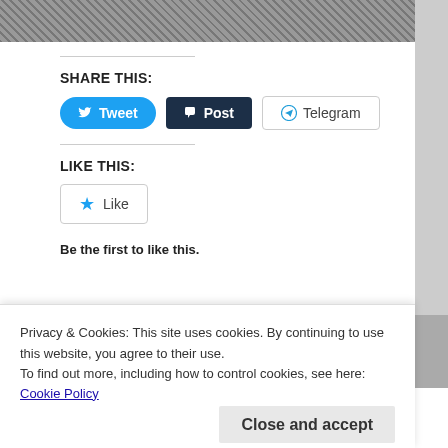[Figure (photo): Grayscale photo strip at top of page]
SHARE THIS:
[Figure (infographic): Share buttons: Tweet (blue rounded), Post (dark), Telegram (outlined)]
LIKE THIS:
[Figure (infographic): Like button with star icon]
Be the first to like this.
[Figure (photo): Purple/pink coastal landscape thumbnail]
[Figure (photo): Sepia dandelion/flower thumbnail]
Privacy & Cookies: This site uses cookies. By continuing to use this website, you agree to their use.
To find out more, including how to control cookies, see here:
Cookie Policy
Close and accept
21st June 2022
12th July 2022